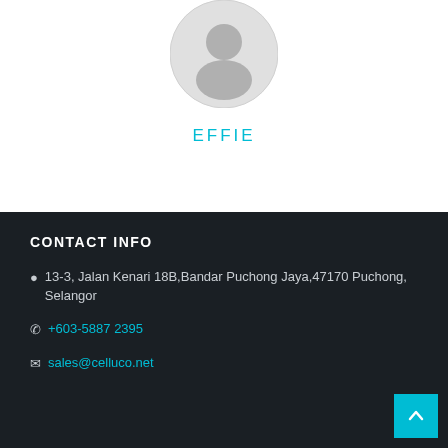[Figure (illustration): Circular avatar/profile placeholder image with grey silhouette of a person on white background]
EFFIE
CONTACT INFO
13-3, Jalan Kenari 18B,Bandar Puchong Jaya,47170 Puchong, Selangor
+603-5887 2395
sales@celluco.net